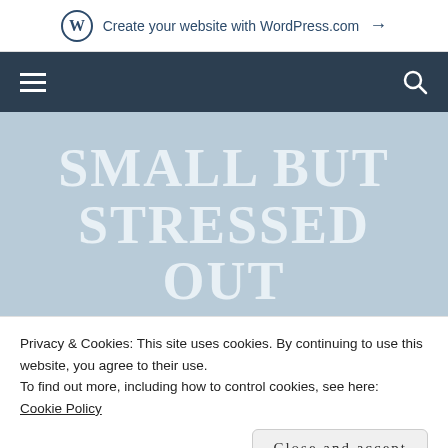Create your website with WordPress.com →
[Figure (screenshot): Dark navigation bar with hamburger menu icon on left and search icon on right]
SMALL BUT STRESSED OUT
LOOK FORWARD TO POLITICAL OBSERVATIONS, BOOK REVIEWS, AND
Privacy & Cookies: This site uses cookies. By continuing to use this website, you agree to their use.
To find out more, including how to control cookies, see here:
Cookie Policy
Close and accept
DEMOCRATS